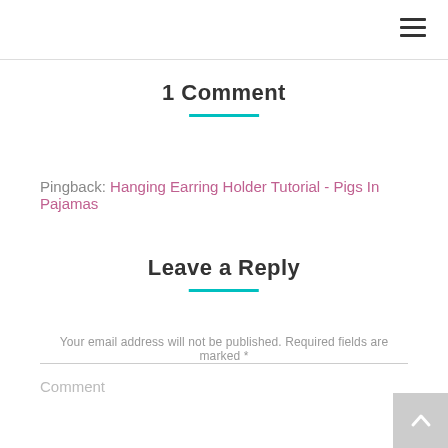1 Comment
Pingback: Hanging Earring Holder Tutorial - Pigs In Pajamas
Leave a Reply
Your email address will not be published. Required fields are marked *
Comment